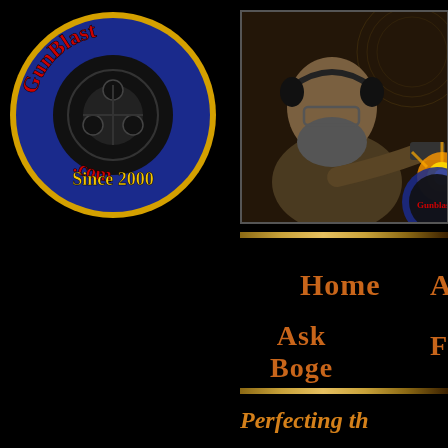[Figure (logo): GunBlast.com circular logo with blue background, red and yellow text 'GunBlast.com', 'Since 2000', and black revolver cylinder graphic]
[Figure (photo): Man with beard and headphones shooting a gun with muzzle flash visible, partial GunBlast.com logo visible at right]
Home
Archive
Ask Boge
Feedback
Perfecting th